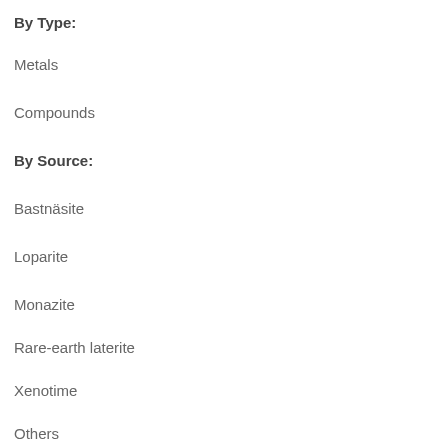By Type:
Metals
Compounds
By Source:
Bastnäsite
Loparite
Monazite
Rare-earth laterite
Xenotime
Others
By Application: